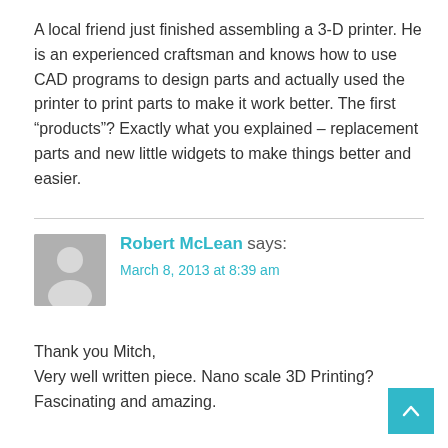A local friend just finished assembling a 3-D printer. He is an experienced craftsman and knows how to use CAD programs to design parts and actually used the printer to print parts to make it work better. The first “products”? Exactly what you explained – replacement parts and new little widgets to make things better and easier.
Robert McLean says:
March 8, 2013 at 8:39 am
Thank you Mitch,
Very well written piece. Nano scale 3D Printing? Fascinating and amazing.